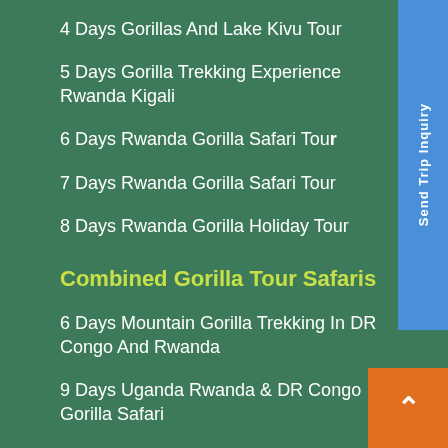4 Days Gorillas And Lake Kivu Tour
5 Days Gorilla Trekking Experience Rwanda Kigali
6 Days Rwanda Gorilla Safari Tour
7 Days Rwanda Gorilla Safari Tour
8 Days Rwanda Gorilla Holiday Tour
Combined Gorilla Tour Safaris
6 Days Mountain Gorilla Trekking In DR Congo And Rwanda
9 Days Uganda Rwanda & DR Congo Gorilla Safari
10 Days Gorilla Trekking Safari In Congo And Uganda